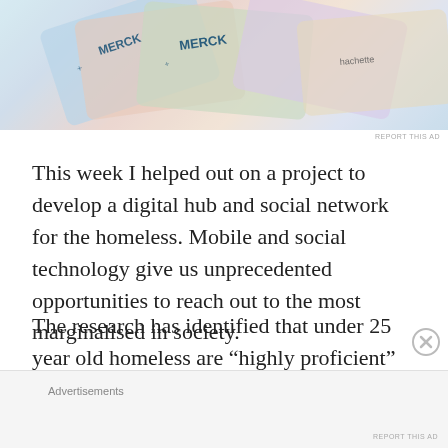[Figure (photo): Advertisement image showing Merck and Hachette branded cards/items with colorful overlay]
REPORT THIS AD
This week I helped out on a project to develop a digital hub and social network for the homeless. Mobile and social technology give us unprecedented opportunities to reach out to the most marginalised in society.
The research has identified that under 25 year old homeless are “highly proficient” in the use of social networks to maintain contact with relatives and friends. Additionally smartphone
Advertisements
REPORT THIS AD